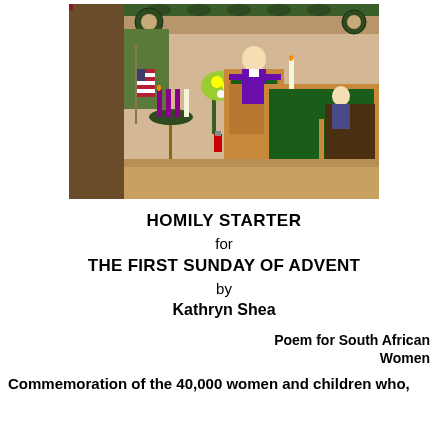[Figure (photo): Interior of a church sanctuary decorated for Advent/Christmas. A person stands at a wooden pulpit. Advent wreath with candles visible on the left, American flag, Christmas garland decorations, and another person seated at a piano on the right.]
HOMILY STARTER
for
THE FIRST SUNDAY OF ADVENT
by
Kathryn Shea
Poem for South African Women
Commemoration of the 40,000 women and children who,